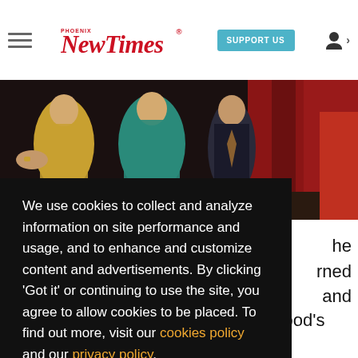Phoenix New Times — SUPPORT US
[Figure (photo): Group of people dressed in formal/festive attire including gold sequined dress, teal dress, and suits with red curtain in background]
We use cookies to collect and analyze information on site performance and usage, and to enhance and customize content and advertisements. By clicking 'Got it' or continuing to use the site, you agree to allow cookies to be placed. To find out more, visit our cookies policy and our privacy policy.
Got it!
Man
he
rned
and
after the 1988 writers' strike. Hollywood's had